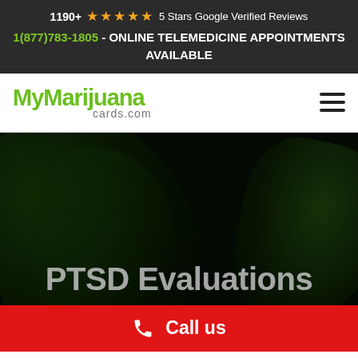1190+ ★★★★★ 5 Stars Google Verified Reviews
1(877)783-1805 - ONLINE TELEMEDICINE APPOINTMENTS AVAILABLE
[Figure (logo): MyMarijuana cards.com logo in green with hamburger menu icon]
[Figure (photo): Dark background hero image with cannabis leaves, overlaid with text 'PTSD Evaluations For Medical...']
PTSD Evaluations For Medical
Call us